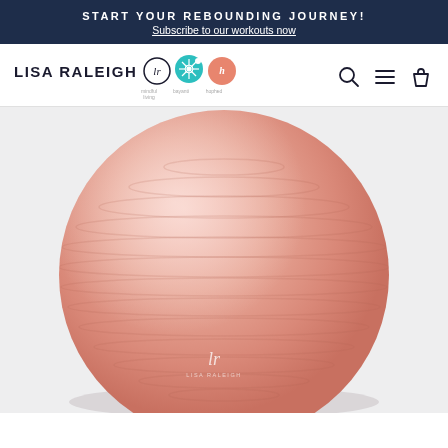START YOUR REBOUNDING JOURNEY! Subscribe to our workouts now
[Figure (logo): Lisa Raleigh brand logo with LR monogram circle, teal snowflake circle (bayanti), and coral circle (hophed) icons, with navigation icons (search, menu, bag)]
[Figure (photo): Large pink/salmon-colored exercise ball (yoga ball) with Lisa Raleigh LR logo on the front, photographed against a light gray/white background]